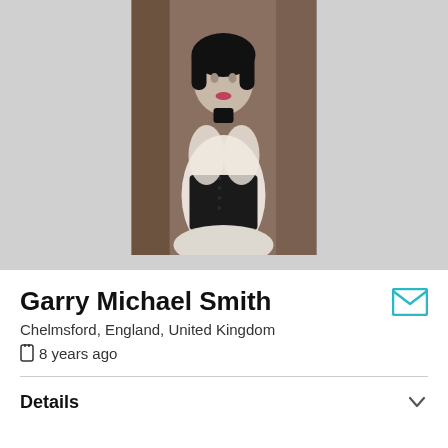[Figure (photo): Profile photo of a woman in gothic/vintage style clothing — white lace top and black corset, dark hair, standing between wooden fence posts in an outdoor wooded setting.]
Garry Michael Smith
Chelmsford, England, United Kingdom
8 years ago
Details